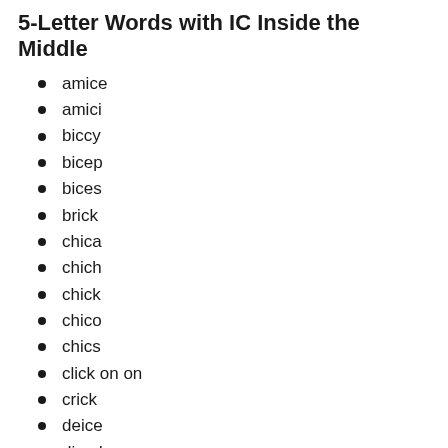5-Letter Words with IC Inside the Middle
amice
amici
biccy
bicep
bices
brick
chica
chich
chick
chico
chics
click on on
crick
deice
diced
dicer
dices